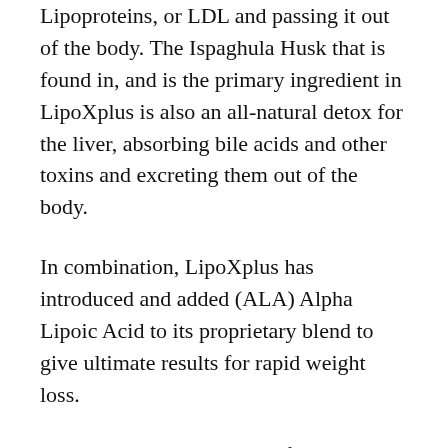Lipoproteins, or LDL and passing it out of the body. The Ispaghula Husk that is found in, and is the primary ingredient in LipoXplus is also an all-natural detox for the liver, absorbing bile acids and other toxins and excreting them out of the body.
In combination, LipoXplus has introduced and added (ALA) Alpha Lipoic Acid to its proprietary blend to give ultimate results for rapid weight loss.
There are many health benefits associated with ALA, including increased energy, treating diabetes, mental clarity, weight loss, reduced skin aging, nerve function, inflammation and more. It has antioxidant properties that